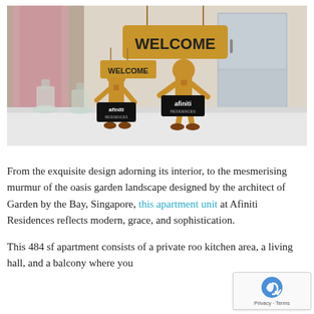[Figure (photo): Interior photo of an apartment room showing two wooden articulated figure toys on a white table/surface, each holding a black 'afiniti RESIDENCES' sign. A larger wooden sign hanging above reads 'WELCOME' in bold letters. Glass bottles visible on the left. A refrigerator and microwave visible in the background. A pink/purple curtained window on the left side.]
From the exquisite design adorning its interior, to the mesmerising murmur of the oasis garden landscape designed by the architect of Garden by the Bay, Singapore, this apartment unit at Afiniti Residences reflects modern, grace, and sophistication.
This 484 sf apartment consists of a private roo kitchen area, a living hall, and a balcony where you